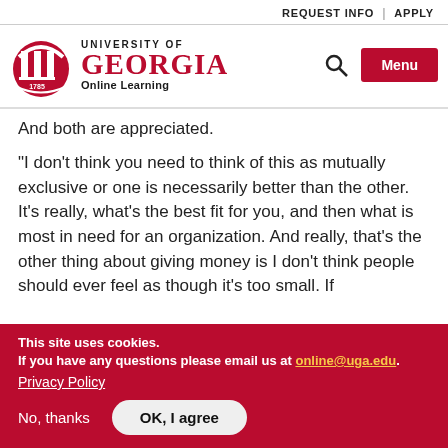REQUEST INFO | APPLY
[Figure (logo): University of Georgia Online Learning logo with arch icon]
And both are appreciated.
"I don’t think you need to think of this as mutually exclusive or one is necessarily better than the other. It’s really, what’s the best fit for you, and then what is most in need for an organization. And really, that’s the other thing about giving money is I don’t think people should ever feel as though it’s too small. If
This site uses cookies.
If you have any questions please email us at online@uga.edu.
Privacy Policy
No, thanks   OK, I agree